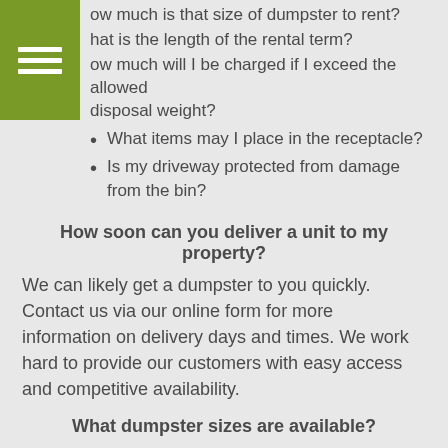ow much is that size of dumpster to rent?
hat is the length of the rental term?
ow much will I be charged if I exceed the allowed disposal weight?
What items may I place in the receptacle?
Is my driveway protected from damage from the bin?
How soon can you deliver a unit to my property?
We can likely get a dumpster to you quickly. Contact us via our online form for more information on delivery days and times. We work hard to provide our customers with easy access and competitive availability.
What dumpster sizes are available?
You may choose from a variety of bin sizes. You can contact us online for the specific sizes available.
How can I determine the size of dumpster that will serve my purposes?